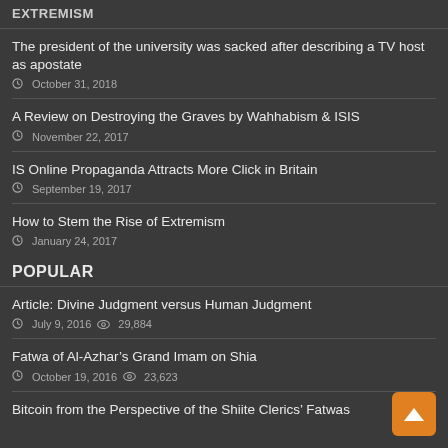EXTREMISM
The president of the university was sacked after describing a TV host as apostate — October 31, 2018
A Review on Destroying the Graves by Wahhabism & ISIS — November 22, 2017
IS Online Propaganda Attracts More Click in Britain — September 19, 2017
How to Stem the Rise of Extremism — January 24, 2017
POPULAR
Article: Divine Judgment versus Human Judgment — July 9, 2016 — 29,884 views
Fatwa of Al-Azhar's Grand Imam on Shia — October 19, 2016 — 23,623 views
Bitcoin from the Perspective of the Shiite Clerics' Fatwas